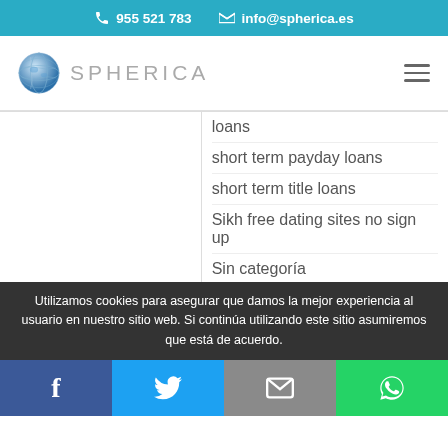✆ 955 521 783   ✉ info@spherica.es
[Figure (logo): Spherica logo with globe icon and text SPHERICA]
loans
short term payday loans
short term title loans
Sikh free dating sites no sign up
Sin categoría
Single Parent free dating sites no sign up
Utilizamos cookies para asegurar que damos la mejor experiencia al usuario en nuestro sitio web. Si continúa utilizando este sitio asumiremos que está de acuerdo.
Facebook | Twitter | Email | WhatsApp